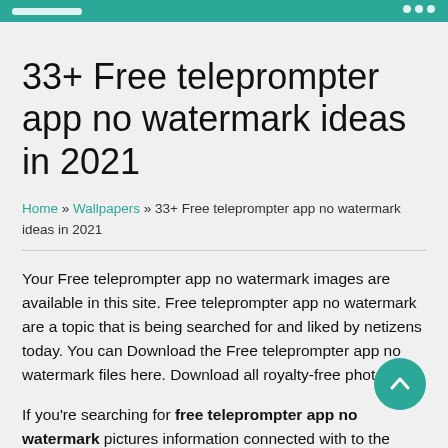33+ Free teleprompter app no watermark ideas in 2021
Home » Wallpapers » 33+ Free teleprompter app no watermark ideas in 2021
Your Free teleprompter app no watermark images are available in this site. Free teleprompter app no watermark are a topic that is being searched for and liked by netizens today. You can Download the Free teleprompter app no watermark files here. Download all royalty-free photos.
If you're searching for free teleprompter app no watermark pictures information connected with to the